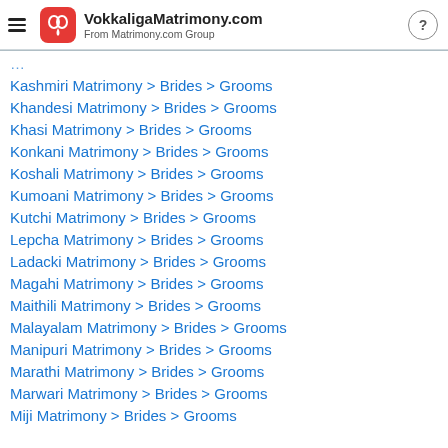VokkaligaMatrimony.com From Matrimony.com Group
Kashmiri Matrimony > Brides > Grooms
Khandesi Matrimony > Brides > Grooms
Khasi Matrimony > Brides > Grooms
Konkani Matrimony > Brides > Grooms
Koshali Matrimony > Brides > Grooms
Kumoani Matrimony > Brides > Grooms
Kutchi Matrimony > Brides > Grooms
Lepcha Matrimony > Brides > Grooms
Ladacki Matrimony > Brides > Grooms
Magahi Matrimony > Brides > Grooms
Maithili Matrimony > Brides > Grooms
Malayalam Matrimony > Brides > Grooms
Manipuri Matrimony > Brides > Grooms
Marathi Matrimony > Brides > Grooms
Marwari Matrimony > Brides > Grooms
Miji Matrimony > Brides > Grooms